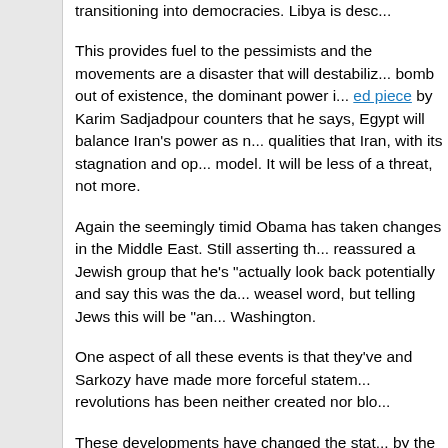transitioning into democracies. Libya is desc...
This provides fuel to the pessimists and the movements are a disaster that will destabiliz... bomb out of existence, the dominant power i... ed piece by Karim Sadjadpour counters that he says, Egypt will balance Iran's power as n... qualities that Iran, with its stagnation and op... model. It will be less of a threat, not more.
Again the seemingly timid Obama has taken changes in the Middle East. Still asserting th... reassured a Jewish group that he's "actually look back potentially and say this was the da... weasel word, but telling Jews this will be "an Washington.
One aspect of all these events is that they've and Sarkozy have made more forceful statem... revolutions has been neither created nor blo...
These developments have changed the stat... by the Fox News bigotry factory, as well as t... in power, fear and despise the Arabs more th... are modified as situations change, the Arab s...